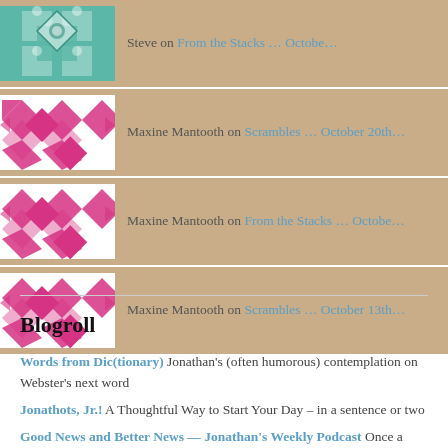Steve on From the Stacks … Octobe…
Maxine Mantooth on Scrambles … October 20th…
Maxine Mantooth on From the Stacks … Octobe…
Maxine Mantooth on Scrambles … October 13th…
Blogroll
Words from Dic(tionary) Jonathan's (often humorous) contemplation on Webster's next word
Jonathots, Jr.! A Thoughtful Way to Start Your Day – in a sentence or two
Good News and Better News — Jonathan's Weekly Podcast Once a week, Jonathan uses humor and wit to "put the pin back in the grenade"